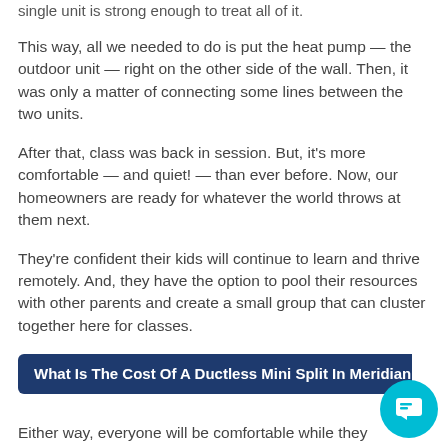single unit is strong enough to treat all of it.
This way, all we needed to do is put the heat pump — the outdoor unit — right on the other side of the wall. Then, it was only a matter of connecting some lines between the two units.
After that, class was back in session. But, it's more comfortable — and quiet! — than ever before. Now, our homeowners are ready for whatever the world throws at them next.
They're confident their kids will continue to learn and thrive remotely. And, they have the option to pool their resources with other parents and create a small group that can cluster together here for classes.
What Is The Cost Of A Ductless Mini Split In Meridian,
Either way, everyone will be comfortable while they